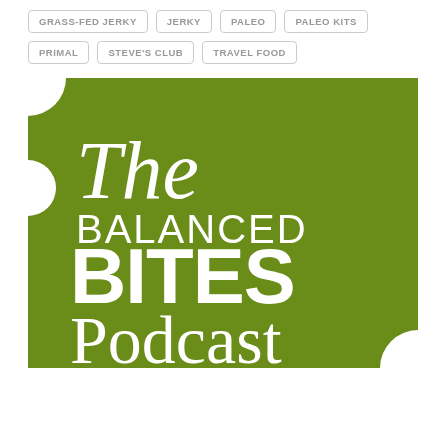GRASS-FED JERKY
JERKY
PALEO
PALEO KITS
PRIMAL
STEVE'S CLUB
TRAVEL FOOD
[Figure (logo): The Balanced Bites Podcast logo — green square background with white decorative curved corner cutouts and white text reading 'The BALANCED BITES Podcast']